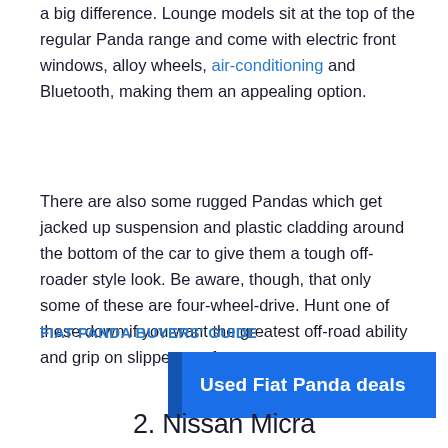a big difference. Lounge models sit at the top of the regular Panda range and come with electric front windows, alloy wheels, air-conditioning and Bluetooth, making them an appealing option.
There are also some rugged Pandas which get jacked up suspension and plastic cladding around the bottom of the car to give them a tough off-roader style look. Be aware, though, that only some of these are four-wheel-drive. Hunt one of these down if you want the greatest off-road ability and grip on slippery surfaces.
FIAT PANDA BUYERS' GUIDE
[Figure (other): Blue button with text 'Used Fiat Panda deals']
2. Nissan Micra